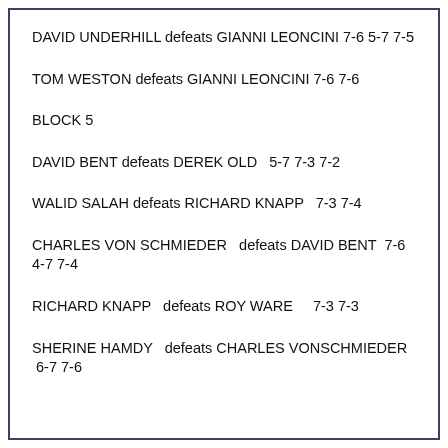DAVID UNDERHILL defeats GIANNI LEONCINI 7-6 5-7 7-5
TOM WESTON  defeats GIANNI LEONCINI 7-6 7-6
BLOCK 5
DAVID BENT  defeats DEREK OLD   5-7 7-3 7-2
WALID SALAH defeats RICHARD KNAPP   7-3 7-4
CHARLES VON SCHMIEDER   defeats DAVID BENT  7-6 4-7 7-4
RICHARD KNAPP   defeats ROY WARE    7-3 7-3
SHERINE HAMDY   defeats CHARLES VONSCHMIEDER    6-7 7-6